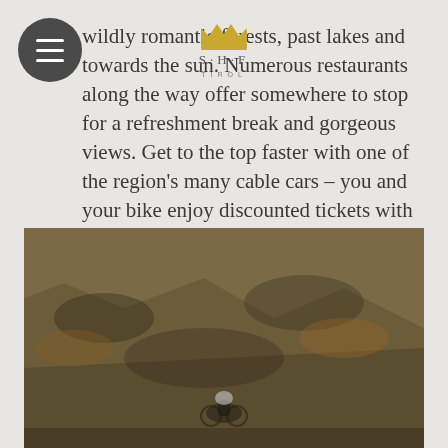[Figure (logo): S·H·F Tirol crown logo in gold and grey text]
wildly romantic forests, past lakes and towards the sun. Numerous restaurants along the way offer somewhere to stop for a refreshment break and gorgeous views. Get to the top faster with one of the region's many cable cars – you and your bike enjoy discounted tickets with the Super. Summer. Card.
[Figure (photo): A cyclist riding on a steep mountain hillside trail with dry brown grass and rocky terrain]